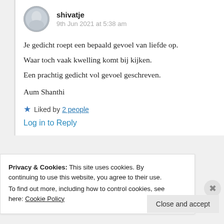[Figure (photo): Circular avatar photo of user shivatje, showing a blurred winter/snow scene]
shivatje
9th Jun 2021 at 5:38 am
Je gedicht roept een bepaald gevoel van liefde op.
Waar toch vaak kwelling komt bij kijken.
Een prachtig gedicht vol gevoel geschreven.

Aum Shanthi
★ Liked by 2 people
Log in to Reply
Privacy & Cookies: This site uses cookies. By continuing to use this website, you agree to their use.
To find out more, including how to control cookies, see here: Cookie Policy